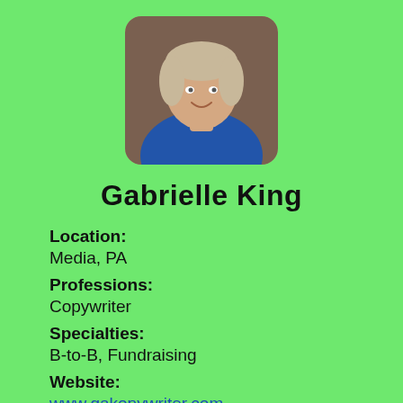[Figure (photo): Headshot photo of Gabrielle King, a person wearing a blue shirt, smiling, against a brown background, displayed in a rounded rectangle frame.]
Gabrielle King
Location:
Media, PA
Professions:
Copywriter
Specialties:
B-to-B, Fundraising
Website:
www.gakopywriter.com